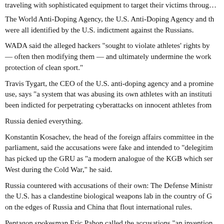traveling with sophisticated equipment to target their victims throug…
The World Anti-Doping Agency, the U.S. Anti-Doping Agency and the were all identified by the U.S. indictment against the Russians.
WADA said the alleged hackers "sought to violate athletes' rights by — often then modifying them — and ultimately undermine the work protection of clean sport."
Travis Tygart, the CEO of the U.S. anti-doping agency and a promine use, says "a system that was abusing its own athletes with an instituti been indicted for perpetrating cyberattacks on innocent athletes from
Russia denied everything.
Konstantin Kosachev, the head of the foreign affairs committee in the parliament, said the accusations were fake and intended to "delegitim has picked up the GRU as "a modern analogue of the KGB which ser West during the Cold War," he said.
Russia countered with accusations of their own: The Defense Ministr the U.S. has a clandestine biological weapons lab in the country of G on the edges of Russia and China that flout international rules.
Pentagon spokesman Eric Pahon called the accusations "an invention attention from Russia's bad behavior on many fronts."